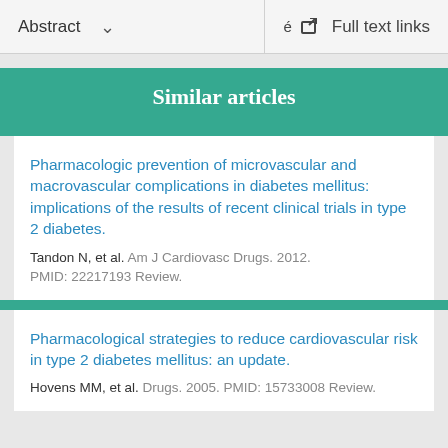Abstract  ∨   Full text links
Similar articles
Pharmacologic prevention of microvascular and macrovascular complications in diabetes mellitus: implications of the results of recent clinical trials in type 2 diabetes.
Tandon N, et al. Am J Cardiovasc Drugs. 2012.
PMID: 22217193 Review.
Pharmacological strategies to reduce cardiovascular risk in type 2 diabetes mellitus: an update.
Hovens MM, et al. Drugs. 2005. PMID: 15733008 Review.